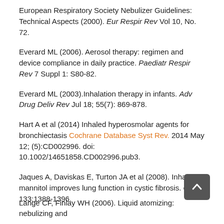European Respiratory Society Nebulizer Guidelines: Technical Aspects (2000). Eur Respir Rev Vol 10, No. 72.
Everard ML (2006). Aerosol therapy: regimen and device compliance in daily practice. Paediatr Respir Rev 7 Suppl 1: S80-82.
Everard ML (2003).Inhalation therapy in infants. Adv Drug Deliv Rev Jul 18; 55(7): 869-878.
Hart A et al (2014) Inhaled hyperosmolar agents for bronchiectasis Cochrane Database Syst Rev. 2014 May 12; (5):CD002996. doi: 10.1002/14651858.CD002996.pub3.
Jaques A, Daviskas E, Turton JA et al (2008). Inhaled mannitol improves lung function in cystic fibrosis. Chest 133:1388-1396.
Lange CF, Finlay WH (2006). Liquid atomizing: nebulizing and